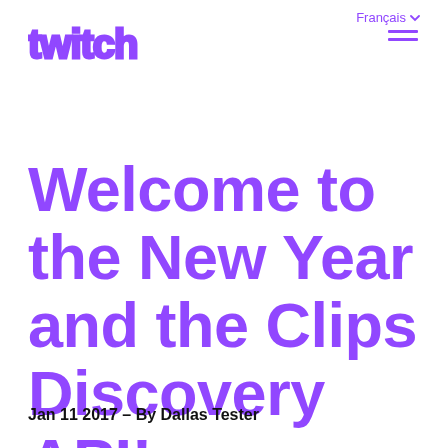Français  ☰
[Figure (logo): Twitch logo in purple with outlined block letters]
Welcome to the New Year and the Clips Discovery API!
Jan 11 2017 - By Dallas Tester